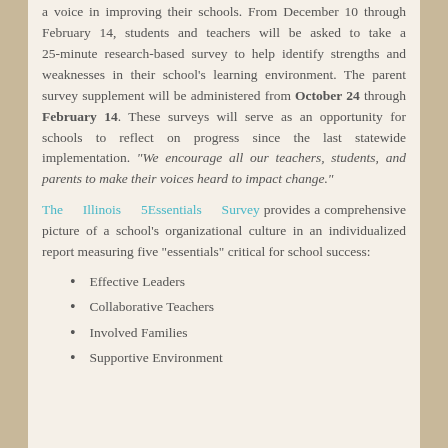a voice in improving their schools. From December 10 through February 14, students and teachers will be asked to take a 25-minute research-based survey to help identify strengths and weaknesses in their school's learning environment. The parent survey supplement will be administered from October 24 through February 14. These surveys will serve as an opportunity for schools to reflect on progress since the last statewide implementation. “We encourage all our teachers, students, and parents to make their voices heard to impact change.”
The Illinois 5Essentials Survey provides a comprehensive picture of a school’s organizational culture in an individualized report measuring five “essentials” critical for school success:
Effective Leaders
Collaborative Teachers
Involved Families
Supportive Environment